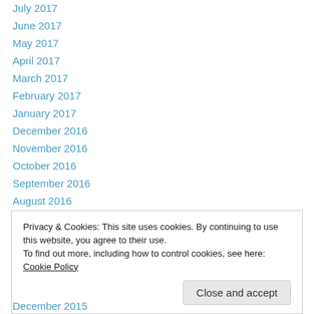July 2017
June 2017
May 2017
April 2017
March 2017
February 2017
January 2017
December 2016
November 2016
October 2016
September 2016
August 2016
July 2016
Privacy & Cookies: This site uses cookies. By continuing to use this website, you agree to their use.
To find out more, including how to control cookies, see here: Cookie Policy
December 2015